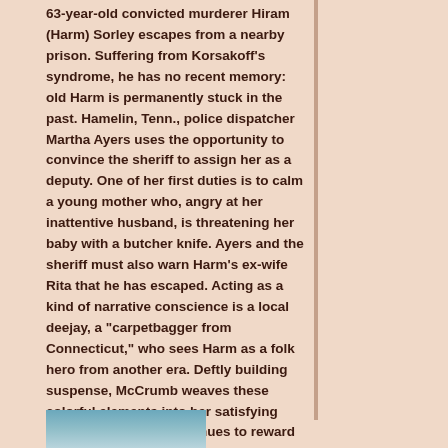63-year-old convicted murderer Hiram (Harm) Sorley escapes from a nearby prison. Suffering from Korsakoff's syndrome, he has no recent memory: old Harm is permanently stuck in the past. Hamelin, Tenn., police dispatcher Martha Ayers uses the opportunity to convince the sheriff to assign her as a deputy. One of her first duties is to calm a young mother who, angry at her inattentive husband, is threatening her baby with a butcher knife. Ayers and the sheriff must also warn Harm's ex-wife Rita that he has escaped. Acting as a kind of narrative conscience is a local deejay, a "carpetbagger from Connecticut," who sees Harm as a folk hero from another era. Deftly building suspense, McCrumb weaves these colorful elements into her satisfying conclusion as she continues to reward her readers' high expectations. (***)
[Figure (photo): Partial image visible at bottom of page, appears to be a book cover with blue/teal tones]